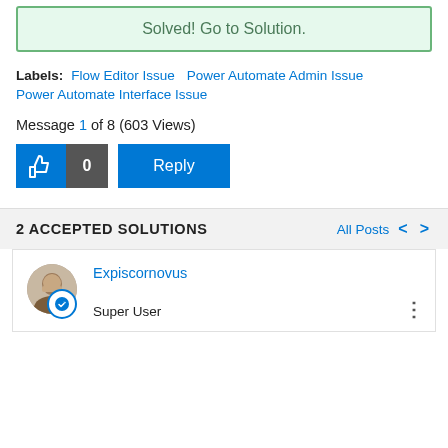Solved! Go to Solution.
Labels: Flow Editor Issue  Power Automate Admin Issue  Power Automate Interface Issue
Message 1 of 8 (603 Views)
[Figure (other): Like button (thumbs up icon with count 0) and Reply button]
2 ACCEPTED SOLUTIONS
All Posts
Expiscornovus
Super User